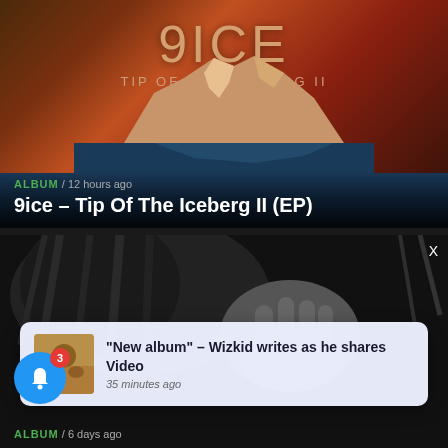[Figure (photo): Album art for 9ice – Tip Of The Iceberg II showing an iceberg over a dark ocean with warm gradient background and text overlay]
ALBUM / 12 hours ago
9ice – Tip Of The Iceberg II (EP)
[Figure (photo): Black and white photo of an artist with dreadlocks showing a hand with a ring, with a notification popup overlay showing Wizkid new album post]
"New album" – Wizkid writes as he shares Video
35 minutes ago
ALBUM / 6 days ago